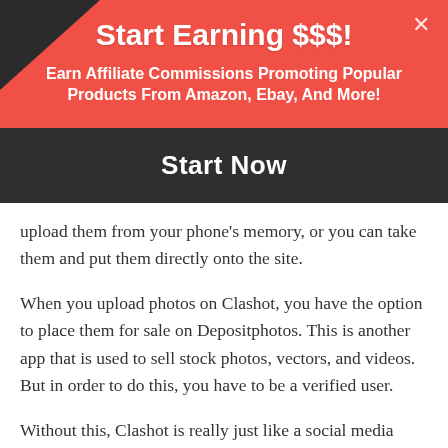Start Earning $$$!
Earn Affiliate Commissions Promoting Popular Products From Amazon, Ebay, And More!
Start Now
upload them from your phone's memory, or you can take them and put them directly onto the site.
When you upload photos on Clashot, you have the option to place them for sale on Depositphotos. This is another app that is used to sell stock photos, vectors, and videos. But in order to do this, you have to be a verified user.
Without this, Clashot is really just like a social media page. If you aren't a verified user, you really just browse the feed, follow people, and appreciate